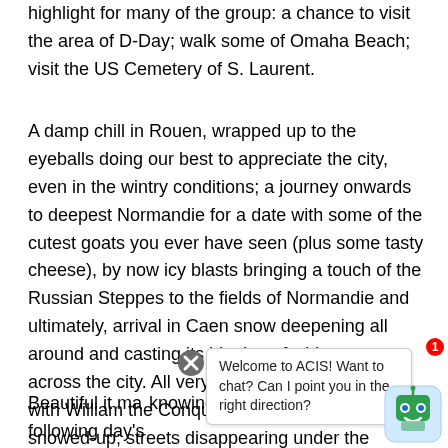highlight for many of the group: a chance to visit the area of D-Day; walk some of Omaha Beach; visit the US Cemetery of S. Laurent.
A damp chill in Rouen, wrapped up to the eyeballs doing our best to appreciate the city, even in the wintry conditions; a journey onwards to deepest Normandie for a date with some of the cutest goats you ever have seen (plus some tasty cheese), by now icy blasts bringing a touch of the Russian Steppes to the fields of Normandie and ultimately, arrival in Caen snow deepening all around and casting its blanket of whiteness across the city. All very picturesque, of course, with William the Conqueror's mighty Chateau all snowed-up; streets disappearing under the tranqu...
Beautiful it ma... knowing the importance of the following day's
[Figure (screenshot): Chat widget overlay with close button (X), speech bubble saying 'Welcome to ACIS! Want to chat? Can I point you in the right direction?', and a robot icon with a notification badge showing 1.]